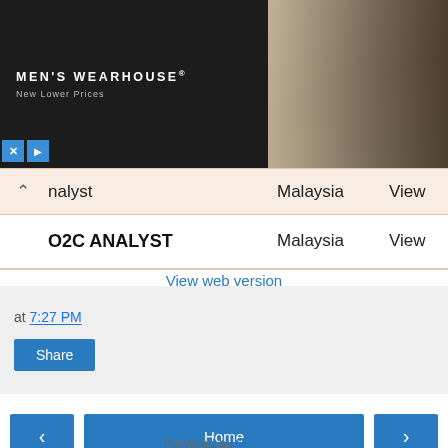[Figure (screenshot): Men's Wearhouse advertisement banner showing a couple in formal wear and a man in a blue suit, with MEN'S WEARHOUSE logo, New Lower Prices text, INFO button, and ad control icons.]
| nalyst | Malaysia | View |
| --- | --- | --- |
| O2C ANALYST | Malaysia | View |
at 7:27 PM
Share
Home
View web version
Powered by Blogger.